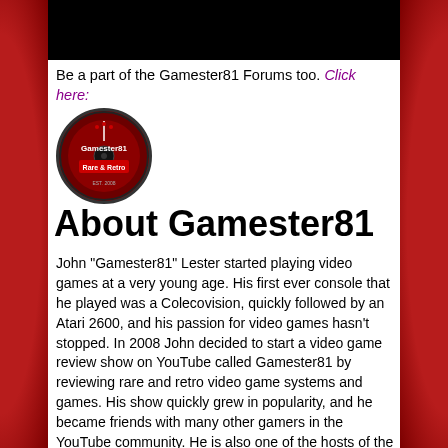[Figure (photo): Dark/black banner image at the top of the content area]
Be a part of the Gamester81 Forums too. Click here:
[Figure (logo): Gamester81 Rare & Retro circular logo with dark red background and white text]
About Gamester81
John "Gamester81" Lester started playing video games at a very young age. His first ever console that he played was a Colecovision, quickly followed by an Atari 2600, and his passion for video games hasn't stopped. In 2008 John decided to start a video game review show on YouTube called Gamester81 by reviewing rare and retro video game systems and games. His show quickly grew in popularity, and he became friends with many other gamers in the YouTube community. He is also one of the hosts of the All Gen Gamers Podcast which is a bimonthly podcast for people and video games of all generations. Some of